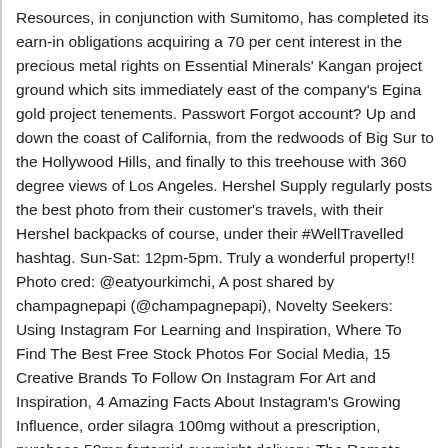Resources, in conjunction with Sumitomo, has completed its earn-in obligations acquiring a 70 per cent interest in the precious metal rights on Essential Minerals' Kangan project ground which sits immediately east of the company's Egina gold project tenements. Passwort Forgot account? Up and down the coast of California, from the redwoods of Big Sur to the Hollywood Hills, and finally to this treehouse with 360 degree views of Los Angeles. Hershel Supply regularly posts the best photo from their customer's travels, with their Hershel backpacks of course, under their #WellTravelled hashtag. Sun-Sat: 12pm-5pm. Truly a wonderful property!! Photo cred: @eatyourkimchi, A post shared by champagnepapi (@champagnepapi), Novelty Seekers: Using Instagram For Learning and Inspiration, Where To Find The Best Free Stock Photos For Social Media, 15 Creative Brands To Follow On Instagram For Art and Inspiration, 4 Amazing Facts About Instagram's Growing Influence, order silagra 100mg without a prescription, purchase 50mg fertomid overnight delivery, The Remote Office: How To Start A Location Independent Business, Storytelling For Leaders: Learn From The World's Best Storytellers. . @skilouise, @sunshinevillage @mtnorquay, @nakiskaskiarea and @marmotbasin will all be welcoming skiers and snowboarders this weekend. Hancock WS, Battersby JE (1976) A experimental micro-test on the detection of unaccomplished cou- pling reactions in solid-phase